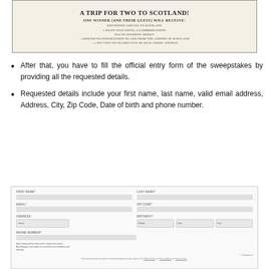[Figure (other): Promotional banner for a sweepstakes contest to win a trip for two to Scotland, listing prizes including roundtrip airfare, 5 night stay hotel accommodations, $350 in spending money, ground transportation, and a set visit to season five of Outlander Unfold.]
After that, you have to fill the official entry form of the sweepstakes by providing all the requested details.
Requested details include your first name, last name, valid email address, Address, City, Zip Code, Date of birth and phone number.
[Figure (screenshot): Screenshot of an online entry form with fields for First Name, Last Name, Email, Zip Code, Address, Birthday (Month/Day/Year selects), Phone Number, a note about required fields, and footer legal text.]